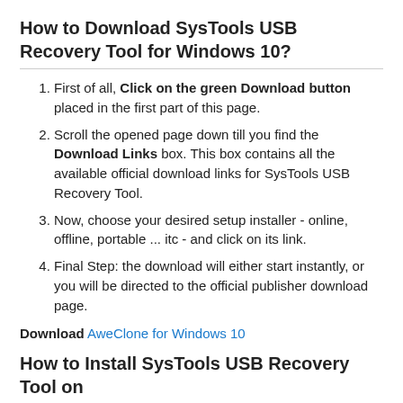How to Download SysTools USB Recovery Tool for Windows 10?
First of all, Click on the green Download button placed in the first part of this page.
Scroll the opened page down till you find the Download Links box. This box contains all the available official download links for SysTools USB Recovery Tool.
Now, choose your desired setup installer - online, offline, portable ... itc - and click on its link.
Final Step: the download will either start instantly, or you will be directed to the official publisher download page.
Download AweClone for Windows 10
How to Install SysTools USB Recovery Tool on